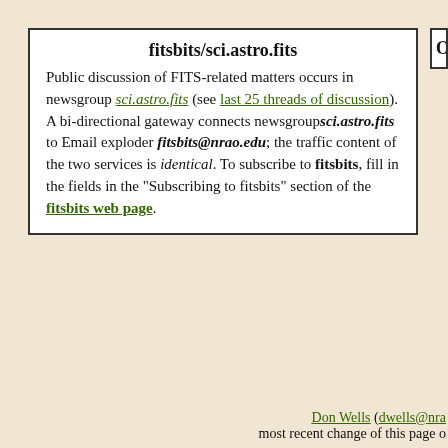fitsbits/sci.astro.fits
Public discussion of FITS-related matters occurs in newsgroup sci.astro.fits (see last 25 threads of discussion). A bi-directional gateway connects newsgroup sci.astro.fits to Email exploder fitsbits@nrao.edu; the traffic content of the two services is identical. To subscribe to fitsbits, fill in the fields in the "Subscribing to fitsbits" section of the fitsbits web page.
Don Wells (dwells@nra... most recent change of this page o...